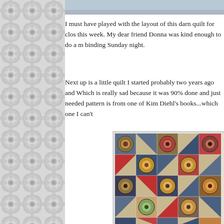[Figure (photo): Top portion of a photo visible at the top of the page, appears to be a quilt or fabric item]
[Figure (illustration): Decorative left sidebar with repeating geometric flower/circle pattern in gray tones]
I must have played with the layout of this darn quilt for clos this week. My dear friend Donna was kind enough to do a m binding Sunday night.
Next up is a little quilt I started probably two years ago and Which is really sad because it was 90% done and just needed pattern is from one of Kim Diehl's books...which one I can't
[Figure (photo): A colorful patchwork quilt with circular applique medallions and triangle half-square blocks in blue, red, gold, and tan fabrics arranged in a grid pattern]